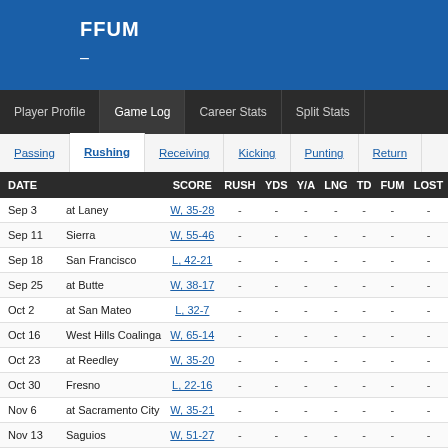FFUM
–
Player Profile | Game Log | Career Stats | Split Stats
Passing | Rushing | Receiving | Kicking | Punting | Return
| DATE |  | SCORE | RUSH | YDS | Y/A | LNG | TD | FUM | LOST |
| --- | --- | --- | --- | --- | --- | --- | --- | --- | --- |
| Sep 3 | at Laney | W, 35-28 | - | - | - | - | - | - | - |
| Sep 11 | Sierra | W, 55-46 | - | - | - | - | - | - | - |
| Sep 18 | San Francisco | L, 42-21 | - | - | - | - | - | - | - |
| Sep 25 | at Butte | W, 38-17 | - | - | - | - | - | - | - |
| Oct 2 | at San Mateo | L, 32-7 | - | - | - | - | - | - | - |
| Oct 16 | West Hills Coalinga | W, 65-14 | - | - | - | - | - | - | - |
| Oct 23 | at Reedley | W, 35-20 | - | - | - | - | - | - | - |
| Oct 30 | Fresno | L, 22-16 | - | - | - | - | - | - | - |
| Nov 6 | at Sacramento City | W, 35-21 | - | - | - | - | - | - | - |
| Nov 13 | Saguios | W, 51-27 | - | - | - | - | - | - | - |